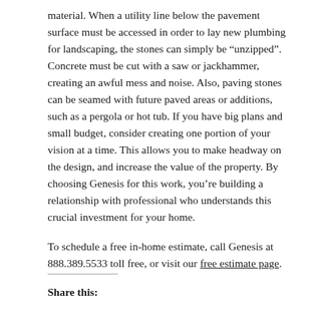material. When a utility line below the pavement surface must be accessed in order to lay new plumbing for landscaping, the stones can simply be “unzipped”. Concrete must be cut with a saw or jackhammer, creating an awful mess and noise. Also, paving stones can be seamed with future paved areas or additions, such as a pergola or hot tub. If you have big plans and small budget, consider creating one portion of your vision at a time. This allows you to make headway on the design, and increase the value of the property. By choosing Genesis for this work, you’re building a relationship with professional who understands this crucial investment for your home.
To schedule a free in-home estimate, call Genesis at 888.389.5533 toll free, or visit our free estimate page.
Share this: